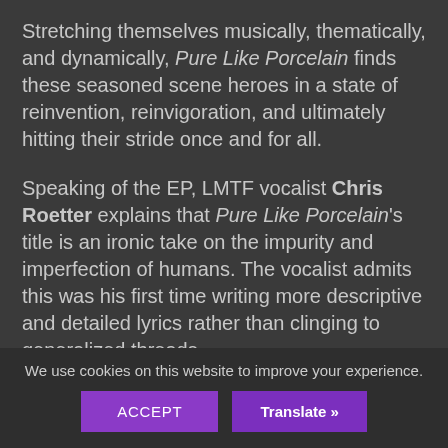Stretching themselves musically, thematically, and dynamically, Pure Like Porcelain finds these seasoned scene heroes in a state of reinvention, reinvigoration, and ultimately hitting their stride once and for all.
Speaking of the EP, LMTF vocalist Chris Roetter explains that Pure Like Porcelain's title is an ironic take on the impurity and imperfection of humans. The vocalist admits this was his first time writing more descriptive and detailed lyrics rather than clinging to generalized threads.
Roetter credits the band's newest members and writing partners, guitarists Zach Dishey and Jeremy Smith, as
We use cookies on this website to improve your experience.
ACCEPT
Translate »